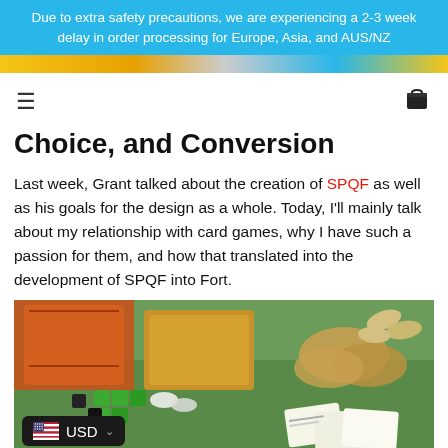Due to extra safety precautions, we are experiencing a 2-3 week delay in order processing for Europe, Asia, and AUS/NZ
[Figure (screenshot): Promotional banner strip with colorful game-related imagery]
Choice, and Conversion
Last week, Grant talked about the creation of SPQF as well as his goals for the design as a whole. Today, I'll mainly talk about my relationship with card games, why I have such a passion for them, and how that translated into the development of SPQF into Fort.
[Figure (photo): Board game components including cards, wooden tokens, green cubes, and other game pieces on a green grass background. A currency selector widget showing USD with US flag is overlaid at the bottom left.]